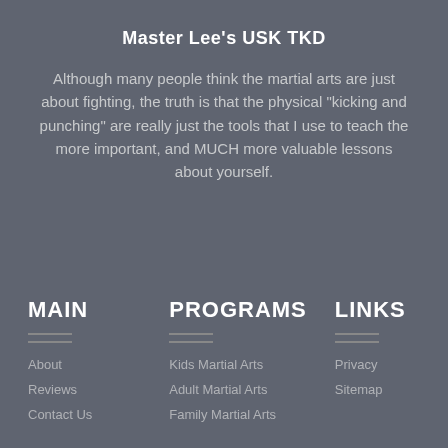Master Lee's USK TKD
Although many people think the martial arts are just about fighting, the truth is that the physical “kicking and punching” are really just the tools that I use to teach the more important, and MUCH more valuable lessons about yourself.
MAIN
PROGRAMS
LINKS
About
Reviews
Contact Us
Kids Martial Arts
Adult Martial Arts
Family Martial Arts
Privacy
Sitemap